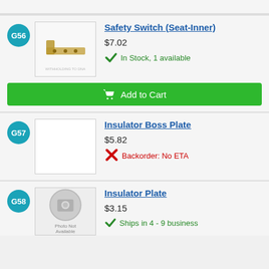G56
[Figure (photo): Safety switch bracket, small brass colored L-shaped metal piece with holes]
Safety Switch (Seat-Inner)
$7.02
In Stock, 1 available
Add to Cart
G57
[Figure (photo): No image available for insulator boss plate]
Insulator Boss Plate
$5.82
Backorder: No ETA
G58
[Figure (photo): Photo Not Available placeholder image]
Insulator Plate
$3.15
Ships in 4 - 9 business